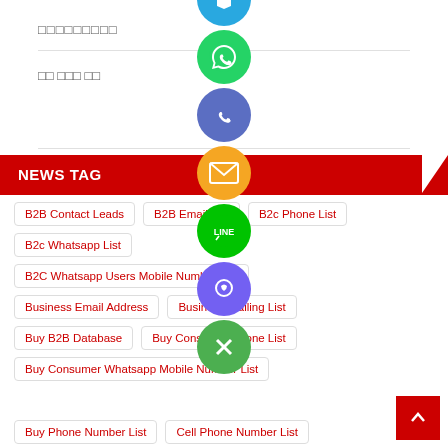□□□□□□□□□
□□ □□□ □□
NEWS TAG
B2B Contact Leads
B2B Email List
B2c Phone List
B2c Whatsapp List
B2C Whatsapp Users Mobile Number List
Business Email Address
Business Mailing List
Buy B2B Database
Buy Consumer Phone List
Buy Consumer Whatsapp Mobile Number List
Buy Phone Number List
Cell Phone Number List